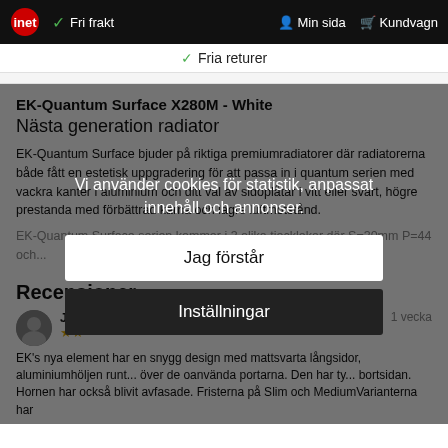inet  ✓ Fri frakt    👤 Min sida  🛒 Kundvagn
✓ Fria returer
EK-Quantum Surface X280M - White
Nästa generation radiator
EK-Quantum Surface bjuder på riktiga premiumradiatorer där radiatorerna både fått en estetisk uppgradering för att passa in i quantum serien med vackra kanter i aluminium och ditt val av sidoplåtar i vitt eller svart, högre prestanda med förbättrad kärna och lägre luftmotstånd.
EK-Quantum Surface serien kommer i 3 olika tjocklekar där S=30mm P=44 och...
Vi använder cookies för statistik, anpassat innehåll och annonser.
Jag förstår
Inställningar
Recensioner
Johannes ✓  1 vecka
EK's nya element har en snygg design med mattsvarta långsidor, aluminiumhöljen runt... över de oanvända portarna. Den har ty... bortsidan. Hornen har också blivit avfasade. Fristerna på Slim och MediumVarianterna har